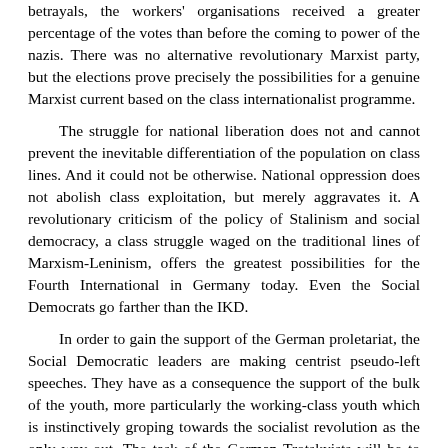betrayals, the workers' organisations received a greater percentage of the votes than before the coming to power of the nazis. There was no alternative revolutionary Marxist party, but the elections prove precisely the possibilities for a genuine Marxist current based on the class internationalist programme.
The struggle for national liberation does not and cannot prevent the inevitable differentiation of the population on class lines. And it could not be otherwise. National oppression does not abolish class exploitation, but merely aggravates it. A revolutionary criticism of the policy of Stalinism and social democracy, a class struggle waged on the traditional lines of Marxism-Leninism, offers the greatest possibilities for the Fourth International in Germany today. Even the Social Democrats go farther than the IKD.
In order to gain the support of the German proletariat, the Social Democratic leaders are making centrist pseudo-left speeches. They have as a consequence the support of the bulk of the youth, more particularly the working-class youth which is instinctively groping towards the socialist revolution as the only way out. The task of the German Trotskyists will be to demand that the Social Democratic leaders match their words with deeds. There are, of course, parties to the right of the Christian Democrats, playing with the ideology of nationalism. In sum,